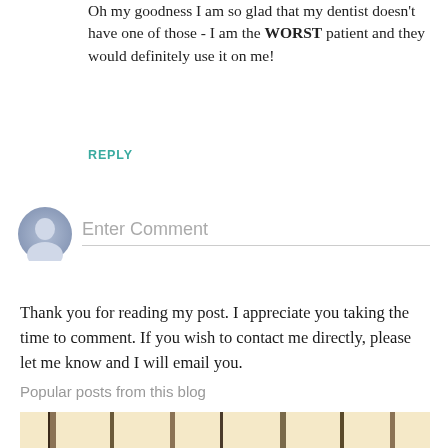Oh my goodness I am so glad that my dentist doesn't have one of those - I am the WORST patient and they would definitely use it on me!
REPLY
[Figure (illustration): Generic user avatar icon - grey silhouette of a person on a light blue-grey circular background]
Enter Comment
Thank you for reading my post. I appreciate you taking the time to comment. If you wish to contact me directly, please let me know and I will email you.
Popular posts from this blog
[Figure (photo): Partial bottom portion of a blog post image, appears to show a wooden or furniture-like scene with warm tones]